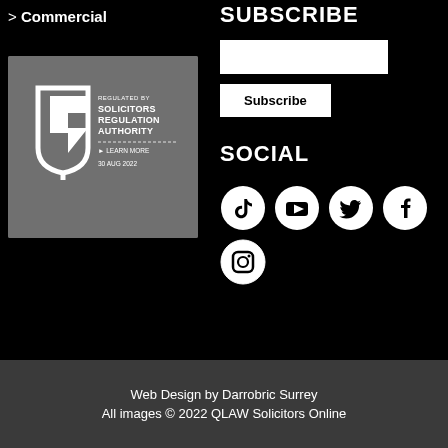> Commercial
[Figure (logo): Solicitors Regulation Authority badge: REGULATED BY SOLICITORS REGULATION AUTHORITY, LEARN MORE, 30 AUG 2022]
SUBSCRIBE
[email input field]
Subscribe
SOCIAL
[Figure (other): Social media icons: TikTok, YouTube, Twitter, Facebook, Instagram]
Web Design by Darrobric Surrey
All images © 2022 QLAW Solicitors Online